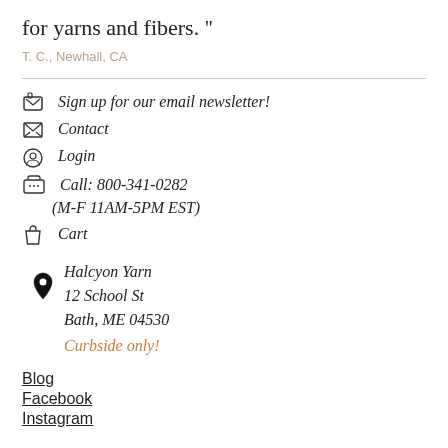for yarns and fibers. ”
T. C., Newhall, CA
Sign up for our email newsletter!
Contact
Login
Call: 800-341-0282 (M-F 11AM-5PM EST)
Cart
Halcyon Yarn
12 School St
Bath, ME 04530
Curbside only!
Blog
Facebook
Instagram